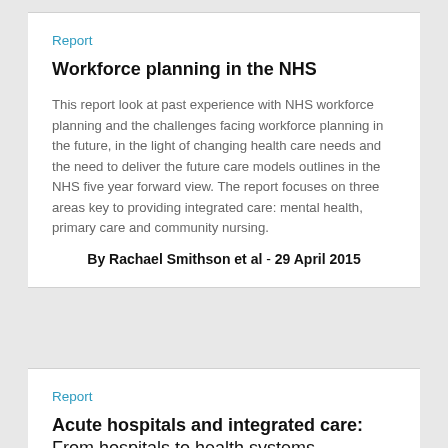Report
Workforce planning in the NHS
This report look at past experience with NHS workforce planning and the challenges facing workforce planning in the future, in the light of changing health care needs and the need to deliver the future care models outlines in the NHS five year forward view. The report focuses on three areas key to providing integrated care: mental health, primary care and community nursing.
By Rachael Smithson et al - 29 April 2015
Report
Acute hospitals and integrated care: From hospitals to health systems